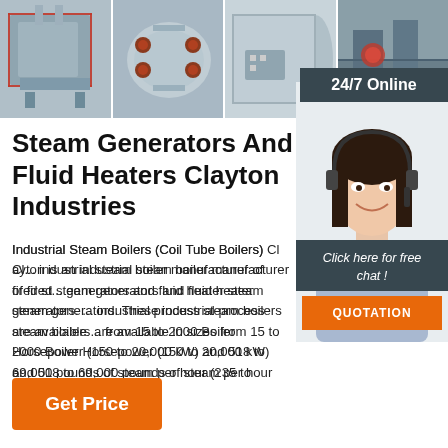[Figure (photo): Four photos of industrial steam boilers/generators in a horizontal strip]
Steam Generators And Fluid Heaters Clayton Industries
Industrial Steam Boilers (Coil Tube Boilers) Clayton is an industrial steam boiler manufacturer of fired steam generators and fluid heater steam generators. These industrial process steam boilers are available in sizes from 15 to 2000 Boiler Horsepower (150 to 20,000 kW) and 518 to 69,000 pounds of steam per hour (235 to 37,300 kg/hr).
[Figure (photo): Customer service agent with headset, 24/7 Online badge, Click here for free chat, QUOTATION button]
Get Price